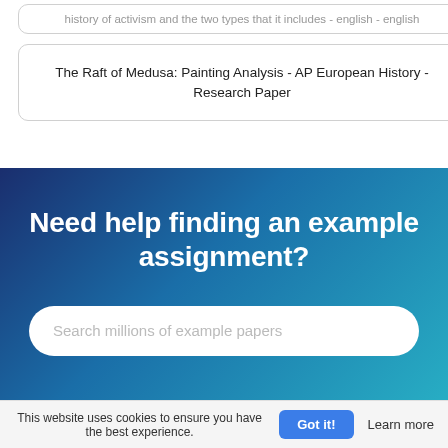history of activism and the two types that it includes - english - english
The Raft of Medusa: Painting Analysis - AP European History - Research Paper
Need help finding an example assignment?
Search millions of example papers
This website uses cookies to ensure you have the best experience.
Got it!
Learn more